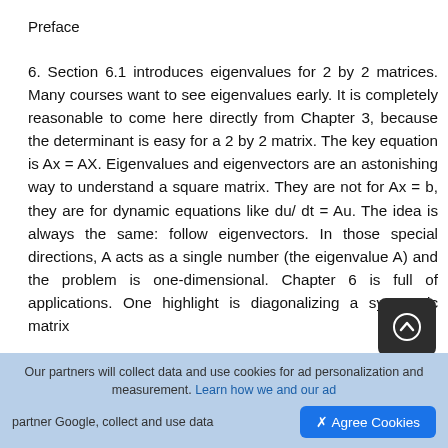Preface
6. Section 6.1 introduces eigenvalues for 2 by 2 matrices. Many courses want to see eigenvalues early. It is completely reasonable to come here directly from Chapter 3, because the determinant is easy for a 2 by 2 matrix. The key equation is Ax = AX. Eigenvalues and eigenvectors are an astonishing way to understand a square matrix. They are not for Ax = b, they are for dynamic equations like du/ dt = Au. The idea is always the same: follow eigenvectors. In those special directions, A acts as a single number (the eigenvalue A) and the problem is one-dimensional. Chapter 6 is full of applications. One highlight is diagonalizing a symmetric matrix